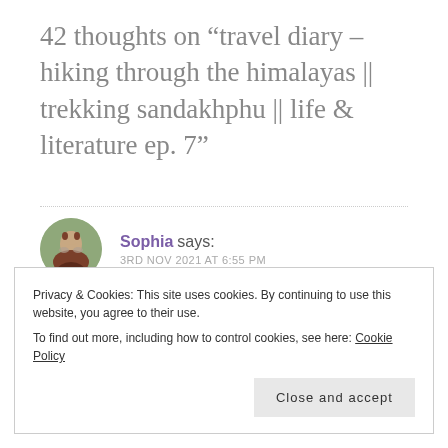42 thoughts on “travel diary – hiking through the himalayas || trekking sandakhphu || life & literature ep. 7”
[Figure (photo): Circular avatar photo of commenter Sophia, showing a person outdoors with an animal]
Sophia says:
3RD NOV 2021 AT 6:55 PM
Oh my gosh! Your vacation sounds so cool and the pictures you took were stunning!
Privacy & Cookies: This site uses cookies. By continuing to use this website, you agree to their use.
To find out more, including how to control cookies, see here: Cookie Policy